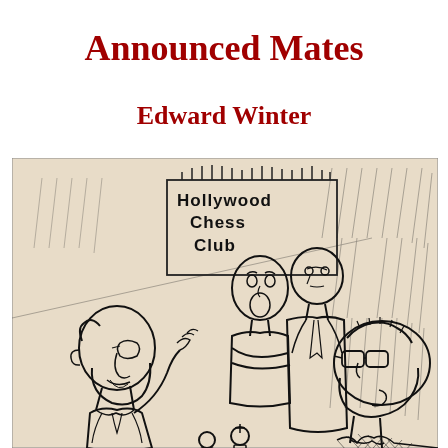Announced Mates
Edward Winter
[Figure (illustration): A pen-and-ink cartoon illustration showing four men at a chess club. A sign in the background reads 'Hollywood Chess Club'. One balding man on the left gestures while speaking to others. Two men stand in the center-background looking on, and a fourth man wearing glasses is on the right. Chess pieces are visible at the bottom of the scene.]